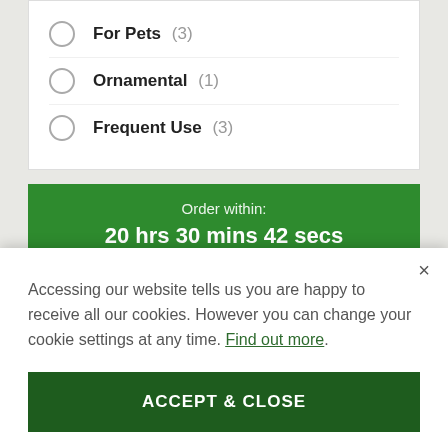For Pets (3)
Ornamental (1)
Frequent Use (3)
Order within:
20 hrs 30 mins 42 secs
For delivery Wednesday
Accessing our website tells us you are happy to receive all our cookies. However you can change your cookie settings at any time. Find out more.
ACCEPT & CLOSE